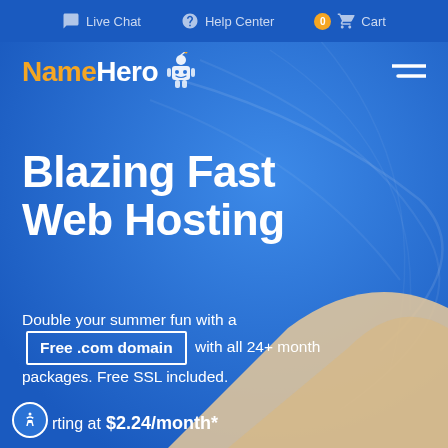Live Chat  Help Center  Cart
[Figure (logo): NameHero logo with orange 'Name' and white 'Hero' text and a small robot mascot icon]
Blazing Fast Web Hosting
Double your summer fun with a Free .com domain with all 24+ month packages. Free SSL included.
Starting at $2.24/month*